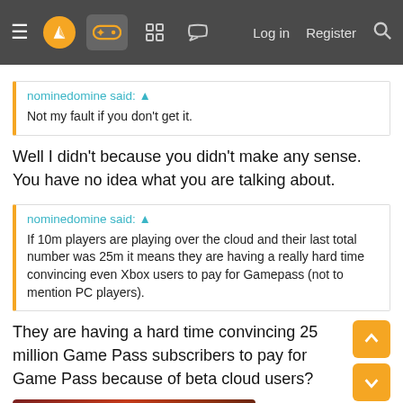≡ [logo] [games icon] [grid icon] [chat icon]   Log in   Register  🔍
nominedomine said: ↑
Not my fault if you don't get it.
Well I didn't because you didn't make any sense. You have no idea what you are talking about.
nominedomine said: ↑
If 10m players are playing over the cloud and their last total number was 25m it means they are having a really hard time convincing even Xbox users to pay for Gamepass (not to mention PC players).
They are having a hard time convincing 25 million Game Pass subscribers to pay for Game Pass because of beta cloud users?
[Figure (photo): Partial thumbnail image at bottom of page, dark reddish-brown tones]